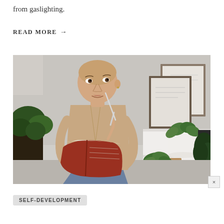from gaslighting.
READ MORE →
[Figure (photo): A young woman with a shaved head, wearing a beige jacket and jeans, sitting and holding an open red notebook with a pen near her lips, looking thoughtfully upward. Behind her are two framed pictures leaning against a wall and several potted green plants on a white shelf unit. The setting appears to be a light, airy room.]
×
SELF-DEVELOPMENT